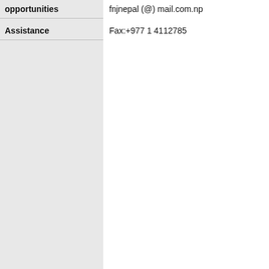opportunities
fnjnepal (@) mail.com.np
Assistance
Fax:+977 1 4112785